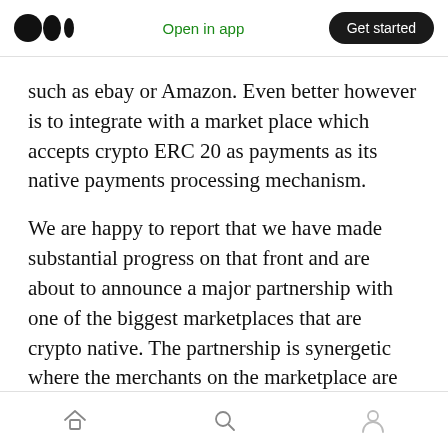Medium logo | Open in app | Get started
such as ebay or Amazon. Even better however is to integrate with a market place which accepts crypto ERC 20 as payments as its native payments processing mechanism.
We are happy to report that we have made substantial progress on that front and are about to announce a major partnership with one of the biggest marketplaces that are crypto native. The partnership is synergetic where the merchants on the marketplace are able to achieve greater sales using the Buy Now pay later approach and
Home | Search | Profile